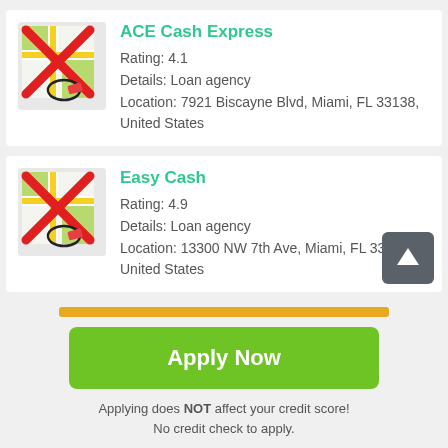[Figure (screenshot): Map icon with red X overlay and location pin for ACE Cash Express]
ACE Cash Express
Rating: 4.1
Details: Loan agency
Location: 7921 Biscayne Blvd, Miami, FL 33138, United States
[Figure (screenshot): Map icon with red X overlay and location pin for Easy Cash]
Easy Cash
Rating: 4.9
Details: Loan agency
Location: 13300 NW 7th Ave, Miami, FL 33168, United States
Apply Now
Applying does NOT affect your credit score! No credit check to apply.